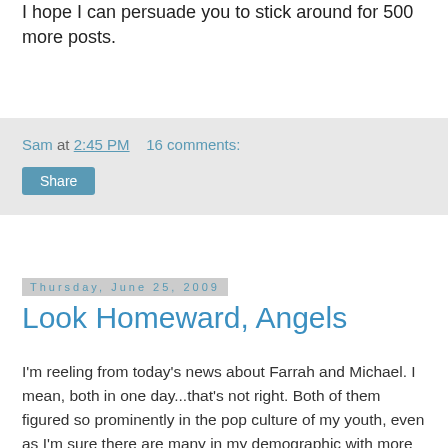I hope I can persuade you to stick around for 500 more posts.
Sam at 2:45 PM    16 comments:
Share
Thursday, June 25, 2009
Look Homeward, Angels
I'm reeling from today's news about Farrah and Michael. I mean, both in one day...that's not right. Both of them figured so prominently in the pop culture of my youth, even as I'm sure there are many in my demographic with more interesting memories than mine.
Before Farrah was Jill Munroe to me, she was the girl on the wall. Her poster is the only one I remember my brother ever having. And my brother--shy, bespectacled, bookish-- wasn't exactly the sexy-bathing-suit-girl type. But even I stared and stared at that poster, with the blinding teeth and indomitable